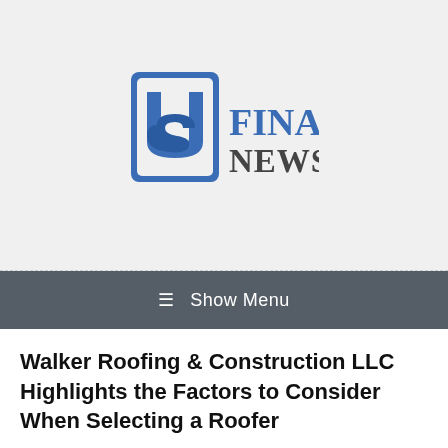[Figure (logo): US Financial News Today logo — stylized 'US' icon in blue on left, 'FINANCIAL' in bold blue serif text and 'NEWS TODAY' in dark gray serif text on right]
≡ Show Menu
Walker Roofing & Construction LLC Highlights the Factors to Consider When Selecting a Roofer